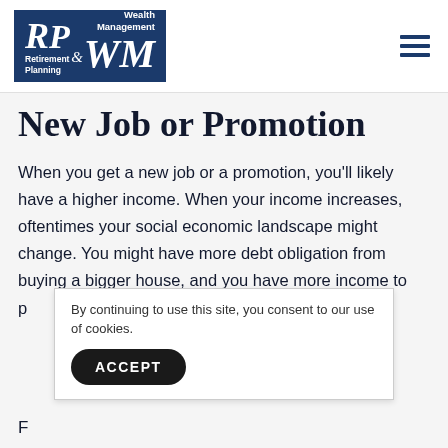[Figure (logo): RP & WM Retirement Planning & Wealth Management logo — dark navy blue rectangle with white serif italic text]
New Job or Promotion
When you get a new job or a promotion, you'll likely have a higher income. When your income increases, oftentimes your social economic landscape might change. You might have more debt obligation from buying a bigger house, and you have more income to p
By continuing to use this site, you consent to our use of cookies.
F